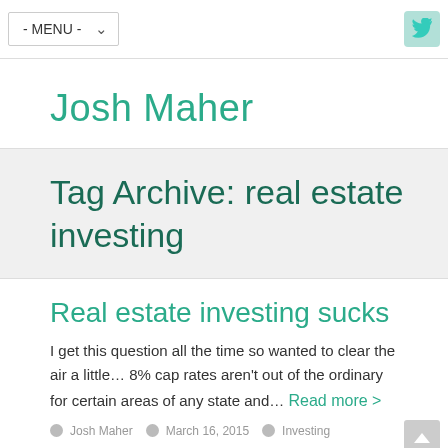- MENU -
Josh Maher
Tag Archive: real estate investing
Real estate investing sucks
I get this question all the time so wanted to clear the air a little… 8% cap rates aren't out of the ordinary for certain areas of any state and…
Read more >
Josh Maher    March 16, 2015    Investing